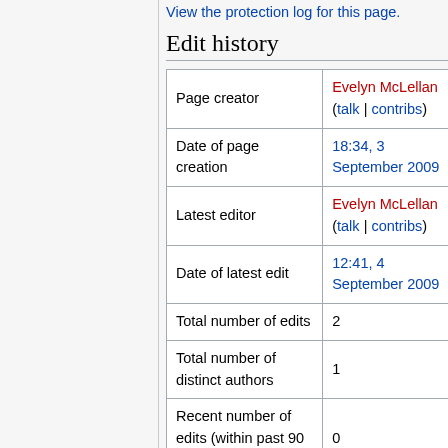View the protection log for this page.
Edit history
|  |  |
| --- | --- |
| Page creator | Evelyn McLellan (talk | contribs) |
| Date of page creation | 18:34, 3 September 2009 |
| Latest editor | Evelyn McLellan (talk | contribs) |
| Date of latest edit | 12:41, 4 September 2009 |
| Total number of edits | 2 |
| Total number of distinct authors | 1 |
| Recent number of edits (within past 90 days) | 0 |